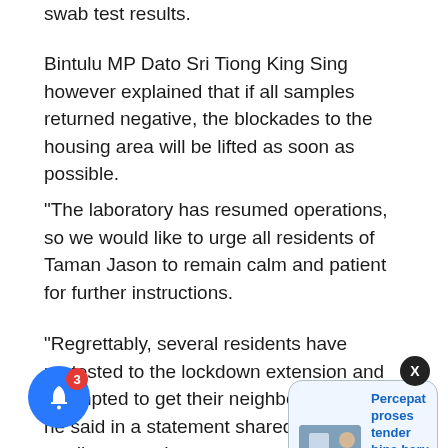swab test results.
Bintulu MP Dato Sri Tiong King Sing however explained that if all samples returned negative, the blockades to the housing area will be lifted as soon as possible.
“The laboratory has resumed operations, so we would like to urge all residents of Taman Jason to remain calm and patient for further instructions.
“Regrettably, several residents have protested to the lockdown extension and attempted to get their neighbours riled up,” he said in a statement shared on his social media post today.
of the va… also the Prime Minister’s Special Envoy to China, suggested that the Enhanced Movement Control Order
[Figure (screenshot): Notification popup card showing a news article link: 'Percepat proses tender bina baru jalan Kampung' with a timestamp of '9 minutes ago' and a small photo thumbnail.]